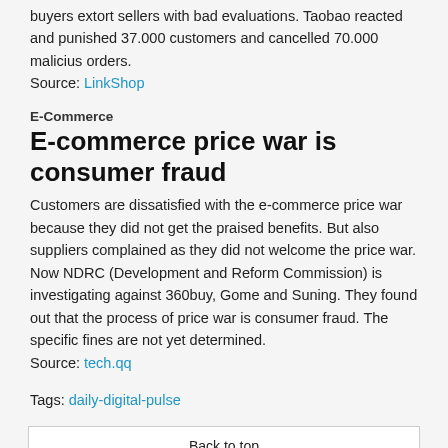buyers extort sellers with bad evaluations. Taobao reacted and punished 37.000 customers and cancelled 70.000 malicius orders. Source: LinkShop
E-Commerce
E-commerce price war is consumer fraud
Customers are dissatisfied with the e-commerce price war because they did not get the praised benefits. But also suppliers complained as they did not welcome the price war. Now NDRC (Development and Reform Commission) is investigating against 360buy, Gome and Suning. They found out that the process of price war is consumer fraud. The specific fines are not yet determined. Source: tech.qq
Tags: daily-digital-pulse
Back to top
Standard View
Privacy Policy | Sitemap | Legal Notice | Deutsch | Français